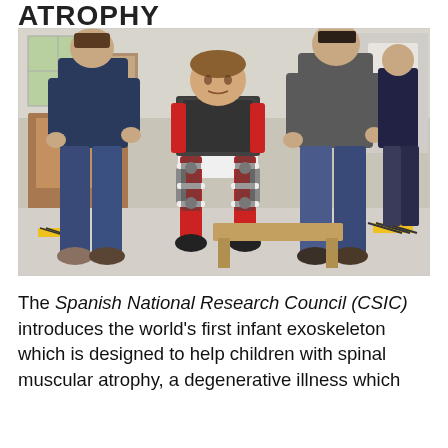ATROPHY
[Figure (photo): A young child wearing a red and white robotic exoskeleton on their legs and torso, being supported by two adults in a clinical/laboratory setting. The child is standing with the help of the mechanical exoskeleton device.]
The Spanish National Research Council (CSIC) introduces the world's first infant exoskeleton which is designed to help children with spinal muscular atrophy, a degenerative illness which affects many in the world, including in Spain.